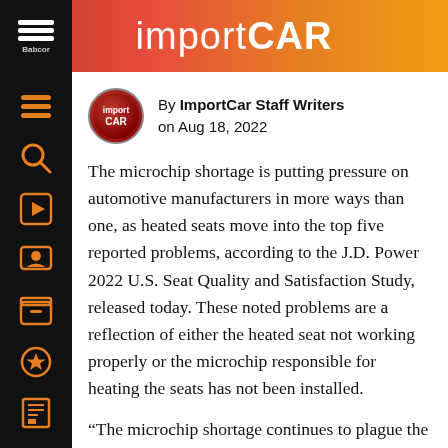importCAR
By ImportCar Staff Writers on Aug 18, 2022
The microchip shortage is putting pressure on automotive manufacturers in more ways than one, as heated seats move into the top five reported problems, according to the J.D. Power 2022 U.S. Seat Quality and Satisfaction Study, released today. These noted problems are a reflection of either the heated seat not working properly or the microchip responsible for heating the seats has not been installed.
“The microchip shortage continues to plague the automotive industry and we’re seeing that